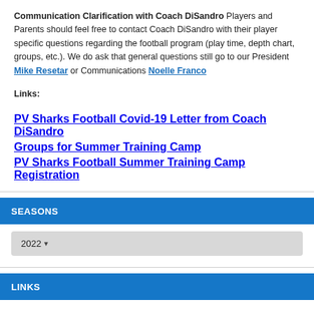Communication Clarification with Coach DiSandro Players and Parents should feel free to contact Coach DiSandro with their player specific questions regarding the football program (play time, depth chart, groups, etc.). We do ask that general questions still go to our President Mike Resetar or Communications Noelle Franco
Links:
PV Sharks Football Covid-19 Letter from Coach DiSandro
Groups for Summer Training Camp
PV Sharks Football Summer Training Camp Registration
SEASONS
2022
LINKS